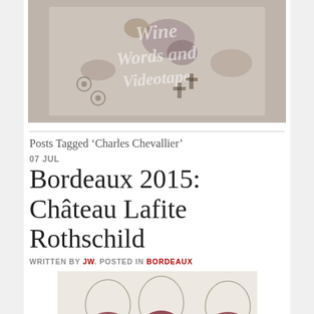[Figure (photo): Hero image of a decorated wine bottle label/capsule with watermark text reading 'Wine Words and Videotape']
Posts Tagged ‘Charles Chevallier’
07 JUL
Bordeaux 2015: Château Lafite Rothschild
WRITTEN BY JW. POSTED IN BORDEAUX
[Figure (photo): Three wine glasses partially filled with red wine, viewed from above on a light background]